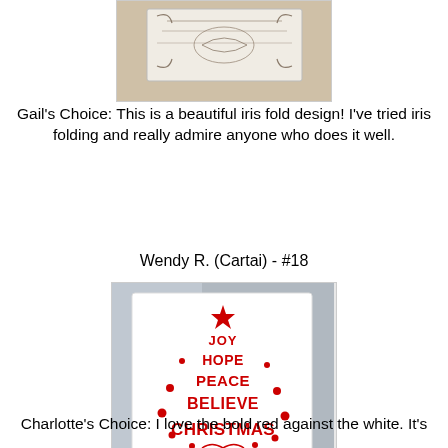[Figure (photo): Partial view of an iris fold card design on a marble/stone surface, showing decorative patterns]
Gail's Choice:  This is a beautiful iris fold design! I've tried iris folding and really admire anyone who does it well.
Wendy R. (Cartai) - #18
[Figure (photo): A white greeting card featuring a red die-cut Christmas tree shape made of words: JOY, HOPE, PEACE, BELIEVE, CHRISTMAS with decorative hearts and swirls. Watermark reads 'Windy Pudd www.cartai.blogspot.ie']
Charlotte's Choice:  I love the bold red against the white. It's